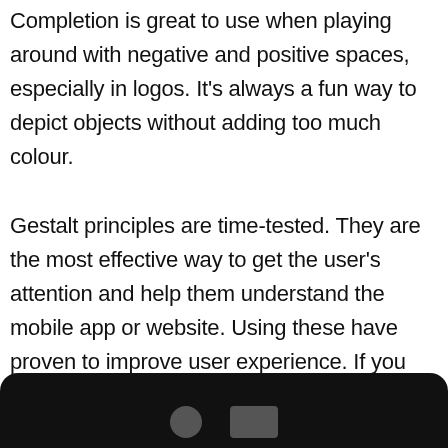Completion is great to use when playing around with negative and positive spaces, especially in logos. It's always a fun way to depict objects without adding too much colour.
Gestalt principles are time-tested. They are the most effective way to get the user's attention and help them understand the mobile app or website. Using these have proven to improve user experience. If you are a designer that relies on the Gestalt principles to create your designs, leave a comment with your work down below!
[Figure (screenshot): Black bar at the bottom of the page, resembling a mobile app navigation bar or footer area.]